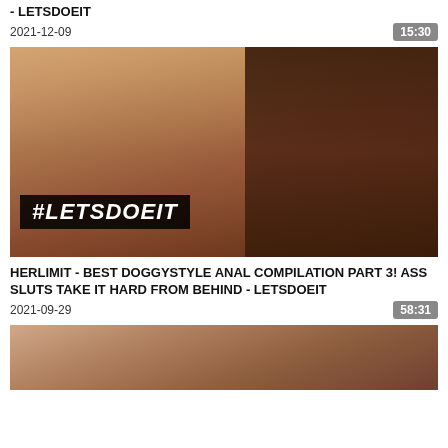- LETSDOEIT
2021-12-09
15:30
[Figure (photo): Thumbnail image with #LETSDOEIT overlay text]
HERLIMIT - BEST DOGGYSTYLE ANAL COMPILATION PART 3! ASS SLUTS TAKE IT HARD FROM BEHIND - LETSDOEIT
2021-09-29
58:31
[Figure (photo): Partial thumbnail image at bottom of page]